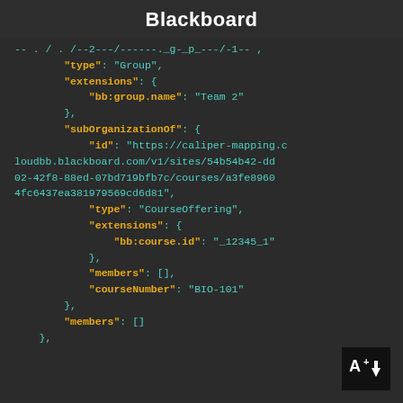Blackboard
[Figure (screenshot): JSON code block showing Blackboard Caliper API data structure with fields: type Group, extensions bb:group.name Team 2, subOrganizationOf with id URL, type CourseOffering, extensions bb:course.id _12345_1, members [], courseNumber BIO-101, members [], closing brace]